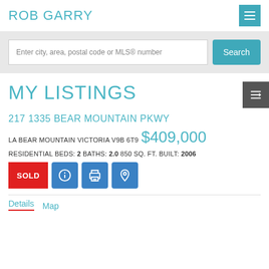ROB GARRY
Enter city, area, postal code or MLS® number
MY LISTINGS
217 1335 BEAR MOUNTAIN PKWY
LA BEAR MOUNTAIN VICTORIA V9B 6T9
$409,000
RESIDENTIAL BEDS: 2 BATHS: 2.0 850 SQ. FT. BUILT: 2006
SOLD
Details  Map